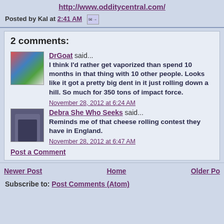http://www.odditycentral.com/
Posted by Kal at 2:41 AM
2 comments:
DrGoat said...
I think I'd rather get vaporized than spend 10 months in that thing with 10 other people. Looks like it got a pretty big dent in it just rolling down a hill. So much for 350 tons of impact force.
November 28, 2012 at 6:24 AM
Debra She Who Seeks said...
Reminds me of that cheese rolling contest they have in England.
November 28, 2012 at 6:47 AM
Post a Comment
Newer Post | Home | Older Po...
Subscribe to: Post Comments (Atom)